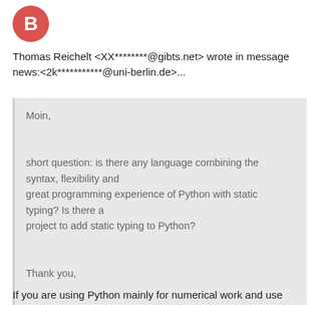[Figure (illustration): Red circular avatar with white letter B]
Thomas Reichelt <XX********@gibts.net> wrote in message news:<2k***********@uni-berlin.de>...
Moin,

short question: is there any language combining the syntax, flexibility and
great programming experience of Python with static typing? Is there a
project to add static typing to Python?

Thank you,
If you are using Python mainly for numerical work and use